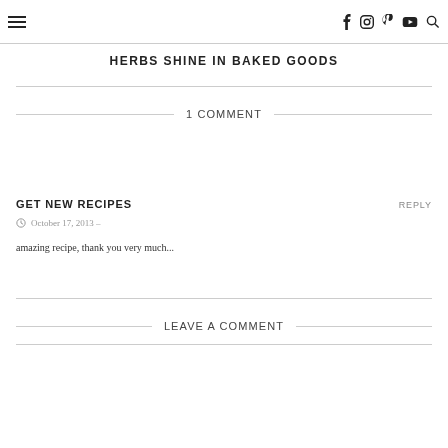☰   f  Instagram  Pinterest  YouTube  🔍
HERBS SHINE IN BAKED GOODS
1 COMMENT
GET NEW RECIPES
REPLY
October 17, 2013 –
amazing recipe, thank you very much...
LEAVE A COMMENT